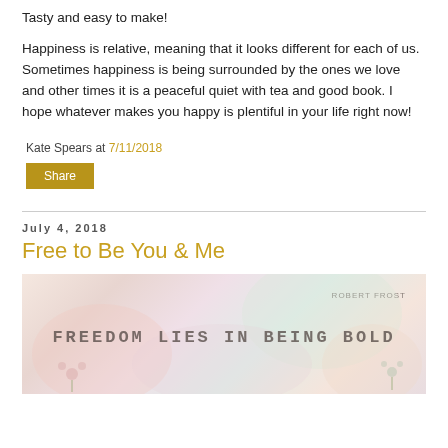Tasty and easy to make!
Happiness is relative, meaning that it looks different for each of us. Sometimes happiness is being surrounded by the ones we love and other times it is a peaceful quiet with tea and good book. I hope whatever makes you happy is plentiful in your life right now!
Kate Spears at 7/11/2018
Share
July 4, 2018
Free to Be You & Me
[Figure (photo): Inspirational quote image with soft pastel background showing text: FREEDOM LIES IN BEING BOLD, attributed to ROBERT FROST]